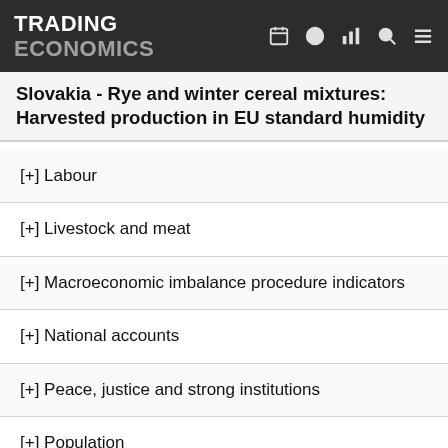TRADING ECONOMICS
Slovakia - Rye and winter cereal mixtures: Harvested production in EU standard humidity
[+] Labour
[+] Livestock and meat
[+] Macroeconomic imbalance procedure indicators
[+] National accounts
[+] Peace, justice and strong institutions
[+] Population
[+] Poverty
[+] Prices